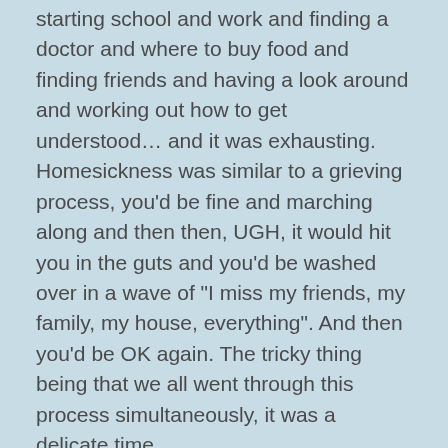starting school and work and finding a doctor and where to buy food and finding friends and having a look around and working out how to get understood… and it was exhausting. Homesickness was similar to a grieving process, you'd be fine and marching along and then then, UGH, it would hit you in the guts and you'd be washed over in a wave of "I miss my friends, my family, my house, everything". And then you'd be OK again. The tricky thing being that we all went through this process simultaneously, it was a delicate time.
So now 4 months on, where are we at? The girls have settled into school and have made friends. They are happy. Our house is set up and work is heading where it needs to, and we've met some great people. So all is well.
Yesterday I flicked through my Facebook account from